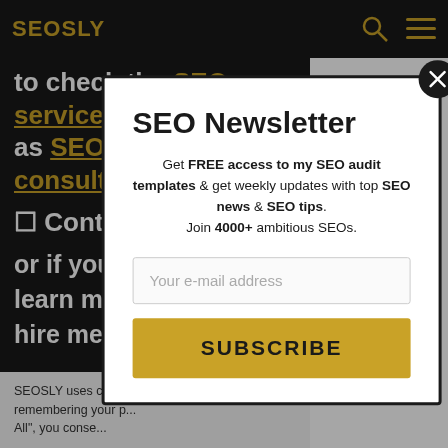SEOSLY
to check the SEO services I offer such as SEO auditing, SEO consulting, monthly S...
☐ Contact or if you learn mo... hire me a...
SEOSLY uses cooki... remembering your p... All", you conse...
SEO Newsletter
Get FREE access to my SEO audit templates & get weekly updates with top SEO news & SEO tips. Join 4000+ ambitious SEOs.
Your e-mail address
SUBSCRIBE